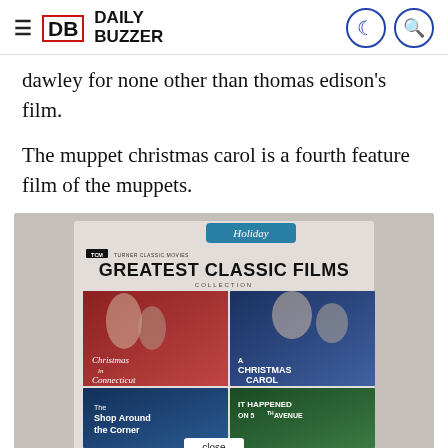DB Daily Buzzer
dawley for none other than thomas edison's film.
The muppet christmas carol is a fourth feature film of the muppets.
[Figure (photo): DVD box set cover for TCM Greatest Classic Films Collection - Holiday, showing four film tiles: Christmas in Connecticut, A Christmas Carol, The Shop Around the Corner, It Happened on 5th Avenue. A 'close' button overlay is visible at the bottom.]